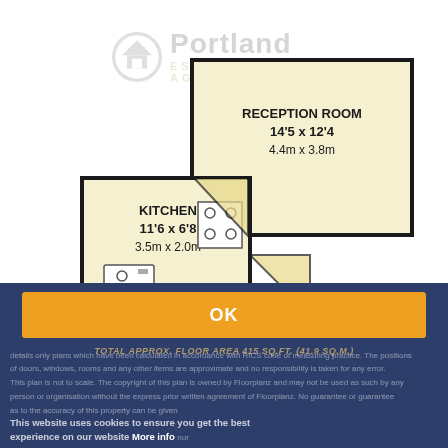[Figure (engineering-diagram): Floor plan of a flat showing Reception Room (14'5 x 12'4, 4.4m x 3.8m), Kitchen (11'6 x 6'8, 3.5m x 2.0m), and Balcony, with Portland Estates watermark logo]
OK
TOTAL APPROX. FLOOR AREA 415 SQ.FT. (41.9 SQ.M.)
This website uses cookies to ensure you get the best experience on our website More info